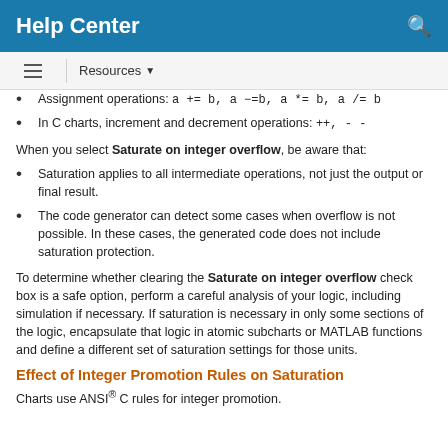Help Center
Assignment operations: a += b, a −=b, a *= b, a /= b
In C charts, increment and decrement operations: ++, - -
When you select Saturate on integer overflow, be aware that:
Saturation applies to all intermediate operations, not just the output or final result.
The code generator can detect some cases when overflow is not possible. In these cases, the generated code does not include saturation protection.
To determine whether clearing the Saturate on integer overflow check box is a safe option, perform a careful analysis of your logic, including simulation if necessary. If saturation is necessary in only some sections of the logic, encapsulate that logic in atomic subcharts or MATLAB functions and define a different set of saturation settings for those units.
Effect of Integer Promotion Rules on Saturation
Charts use ANSI® C rules for integer promotion.